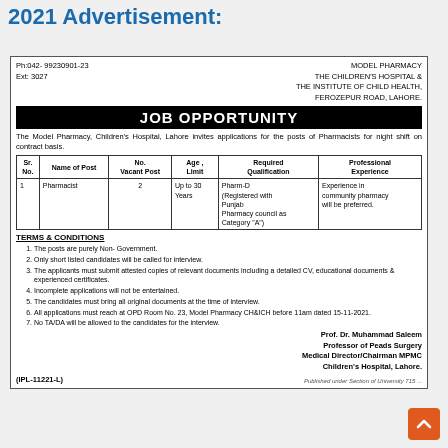2021 Advertisement:
[Figure (other): Job opportunity advertisement from Model Pharmacy, The Children's Hospital & The Institute of Child Health, Ferozepur Road, Lahore. Contains a table for Pharmacist post and terms & conditions.]
Ph:042- 99230901-23 Ext: 3027
MODEL PHARMACY THE CHILDREN'S HOSPITAL & THE INSTITUTE OF CHILD HEALTH, FEROZEPUR ROAD, LAHORE.
JOB OPPORTUNITY
The Model Pharmacy, Children's Hospital, Lahore invites applications for the posts of Pharmacists for night shift on contract basis.
| Sr. No. | Name of Post | No. Vacant Post | Age, Limit | Required Qualification | Professional Experience |
| --- | --- | --- | --- | --- | --- |
| 1 | Pharmacist | 2 | Up to 30 Years | Pharm-D (Registered with Punjab Pharmacy council as Category "A") | Experience in community pharmacy will be preferred. |
TERMS & CONDITIONS
The posts are purely Non- Government.
Only short listed candidates will be called for interview.
The applicants must submit attested copies of relevant documents including a detailed CV, educational documents & experienced certificates.
Incomplete applications will not be entertained.
The candidates must bring all original documents at the time of interview.
All applications must reach at OPD Room No. 23, Model Pharmacy CH&ICH before 11am dated 15-11-2021.
No TA/DA will be allowed to the candidates for the interview.
Prof. Dr. Muhammad Saleem
Professor of Peads Surgery
Medical Director/Chairman MPMC
Children's Hospital, Lahore.
(IPL-11221-L)